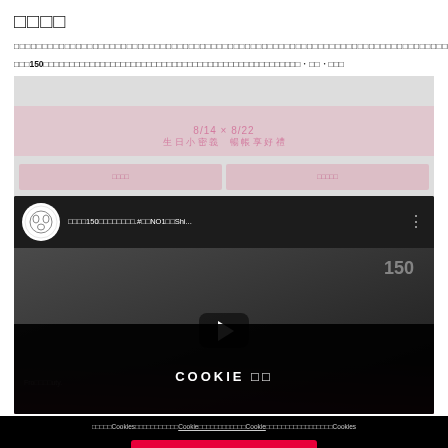□□□□
□□□□□□□□□□□□□□□□□□□□□□□□□□□□□□□□□□□□□□□□□□□□□□□□□□□□□□□□□□□□□□□□□□□□□□□□□□□□□□□□□□□□□□□□□
□□□150□□□□□□□□□□□□□□□□□□□□□□□□□□□□□□□□□□□□□□□□□□□□□□□□□□・□□・□□□
[Figure (screenshot): YouTube video embed showing a video titled with Japanese text about 150 items, with a play button overlay and cookie consent banner over the bottom portion]
□□□□□Cookies□□□□□□□□□□□Cookie□□□□□□□□□□□□Cookie□□□□□□□□□□□□□□□□□Cookies
□□□□COOKIES